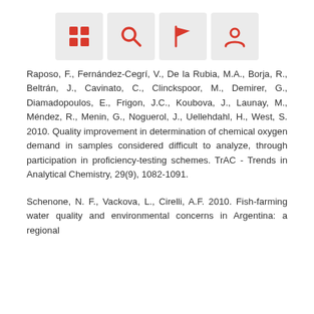[Figure (infographic): Four icon buttons in a row: grid/apps icon, search/magnify icon, flag icon, person/profile icon — all in red on light grey square backgrounds]
Raposo, F., Fernández-Cegrí, V., De la Rubia, M.A., Borja, R., Beltrán, J., Cavinato, C., Clinckspoor, M., Demirer, G., Diamadopoulos, E., Frigon, J.C., Koubova, J., Launay, M., Méndez, R., Menin, G., Noguerol, J., Uellehdahl, H., West, S. 2010. Quality improvement in determination of chemical oxygen demand in samples considered difficult to analyze, through participation in proficiency-testing schemes. TrAC - Trends in Analytical Chemistry, 29(9), 1082-1091.
Schenone, N. F., Vackova, L., Cirelli, A.F. 2010. Fish-farming water quality and environmental concerns in Argentina: a regional